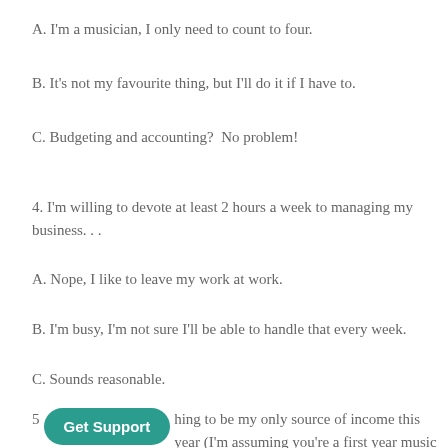A. I'm a musician, I only need to count to four.
B. It's not my favourite thing, but I'll do it if I have to.
C. Budgeting and accounting?  No problem!
4. I'm willing to devote at least 2 hours a week to managing my business. . .
A. Nope, I like to leave my work at work.
B. I'm busy, I'm not sure I'll be able to handle that every week.
C. Sounds reasonable.
5. [Get Support]hing to be my only source of income this year (I'm assuming you're a first year music teacher). . .